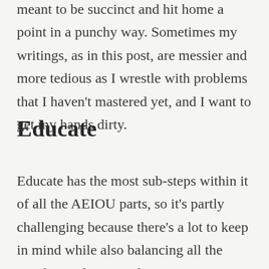meant to be succinct and hit home a point in a punchy way. Sometimes my writings, as in this post, are messier and more tedious as I wrestle with problems that I haven't mastered yet, and I want to get my hands dirty.
Educate
Educate has the most sub-steps within it of all the AEIOU parts, so it's partly challenging because there's a lot to keep in mind while also balancing all the usual complexities of an organizing conversation. For this reason, this is the part of AEIOU that most benefited from